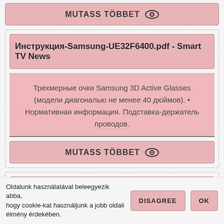[Figure (screenshot): MUTASS TÖBBET button with eye icon at top]
Инструкция-Samsung-UE32F6400.pdf - Smart TV News
Трехмерные очки Samsung 3D Active Glasses (модели диагональю не менее 40 дюймов). • Нормативная информация. Подставка-держатель проводов.
[Figure (screenshot): MUTASS TÖBBET button with eye icon]
Установка приложения «IDC.TB» на Samsung Smart TV
Oldalunk használatával beleegyezik abba, hogy cookie-kat használjunk a jobb oldali élmény érdekében.
DISAGREE
OK